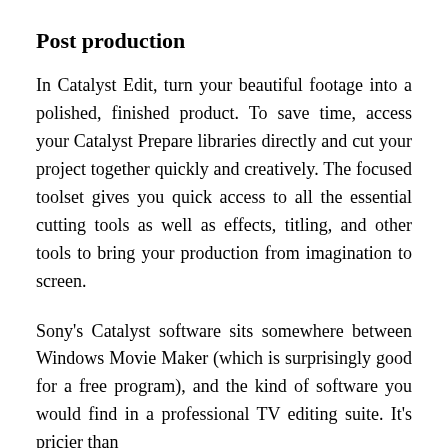Post production
In Catalyst Edit, turn your beautiful footage into a polished, finished product. To save time, access your Catalyst Prepare libraries directly and cut your project together quickly and creatively. The focused toolset gives you quick access to all the essential cutting tools as well as effects, titling, and other tools to bring your production from imagination to screen.
Sony's Catalyst software sits somewhere between Windows Movie Maker (which is surprisingly good for a free program), and the kind of software you would find in a professional TV editing suite. It's pricier than